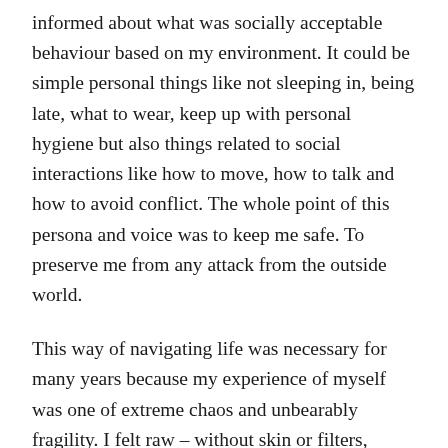informed about what was socially acceptable behaviour based on my environment. It could be simple personal things like not sleeping in, being late, what to wear, keep up with personal hygiene but also things related to social interactions like how to move, how to talk and how to avoid conflict. The whole point of this persona and voice was to keep me safe. To preserve me from any attack from the outside world.
This way of navigating life was necessary for many years because my experience of myself was one of extreme chaos and unbearably fragility. I felt raw – without skin or filters, without ways of defending myself should I be